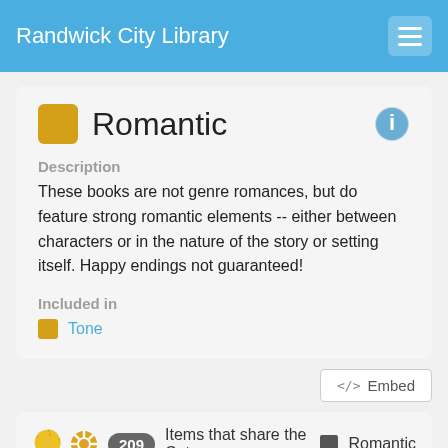Randwick City Library
Romantic
Description
These books are not genre romances, but do feature strong romantic elements -- either between characters or in the nature of the story or setting itself. Happy endings not guaranteed!
Included in
Tone
209 Items that share the Category  Romantic